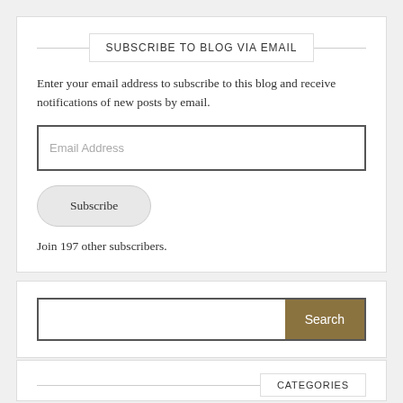SUBSCRIBE TO BLOG VIA EMAIL
Enter your email address to subscribe to this blog and receive notifications of new posts by email.
Email Address
Subscribe
Join 197 other subscribers.
Search
CATEGORIES